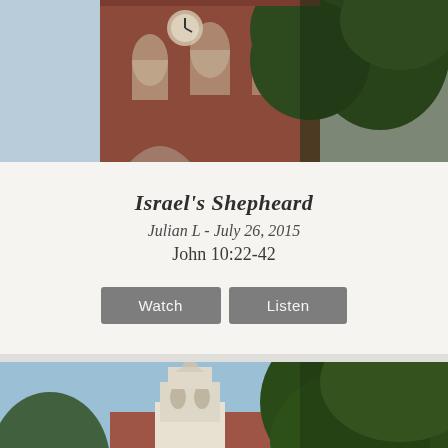[Figure (photo): Photo of a red brick church building with a clock tower and trees, viewed from below at an angle against a blue sky. Top portion of the page.]
Israel's Shepheard
Julian L - July 26, 2015
John 10:22-42
Watch | Listen
[Figure (photo): Photo of a white church steeple and red brick church building with lush green trees and blue sky, viewed from below. Bottom portion of the page.]